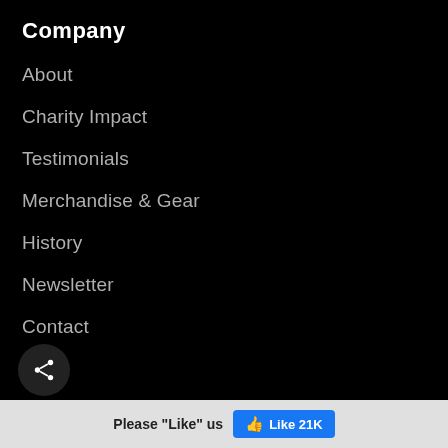Company
About
Charity Impact
Testimonials
Merchandise & Gear
History
Newsletter
Contact
Legal
Get Help
[Figure (other): Share button icon (circular dark button with share/network icon)]
Please "Like" us  Like 21K